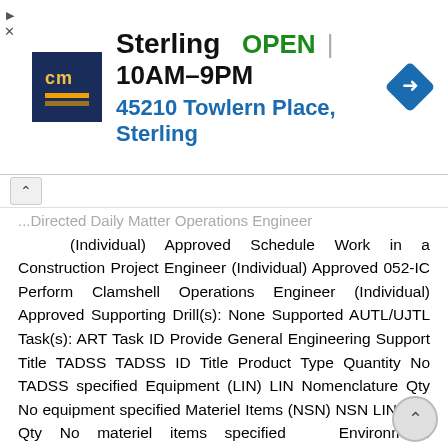[Figure (screenshot): Sterling store advertisement banner showing logo, OPEN status, hours 10AM-9PM, address 45210 Towlern Place Sterling, and navigation icon]
...Directed Daily Matter Operations Engineer (Individual) Approved Schedule Work in a Construction Project Engineer (Individual) Approved 052-IC Perform Clamshell Operations Engineer (Individual) Approved Supporting Drill(s): None Supported AUTL/UJTL Task(s): ART Task ID Provide General Engineering Support Title TADSS TADSS ID Title Product Type Quantity No TADSS specified Equipment (LIN) LIN Nomenclature Qty No equipment specified Materiel Items (NSN) NSN LIN Title Qty No materiel items specified Environment: Environmental protection is not just the law but the right thing to do. It is a continual process and starts with deliberate planning. Always be alert to ways to protect our environment during training and missions. In doing so, you will contribute to the sustainment of our training resources while protecting people and the environment from harmful effects. Refer to the current Environmental Considerations manual and the current GTA Environmental-related Risk